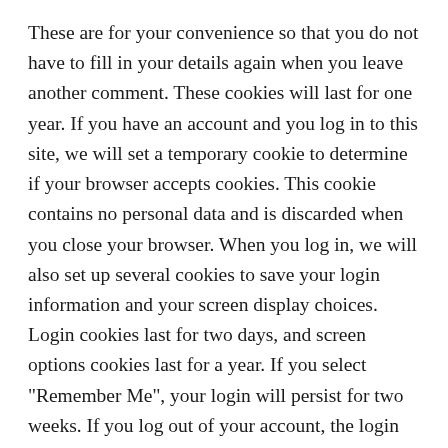These are for your convenience so that you do not have to fill in your details again when you leave another comment. These cookies will last for one year. If you have an account and you log in to this site, we will set a temporary cookie to determine if your browser accepts cookies. This cookie contains no personal data and is discarded when you close your browser. When you log in, we will also set up several cookies to save your login information and your screen display choices. Login cookies last for two days, and screen options cookies last for a year. If you select "Remember Me", your login will persist for two weeks. If you log out of your account, the login cookies will be removed. If you edit or publish an article, an additional cookie will be saved in your browser. This cookie includes no personal data and simply indicates the post ID of the article you just edited. It expires after 1 day.
Embedded content from other